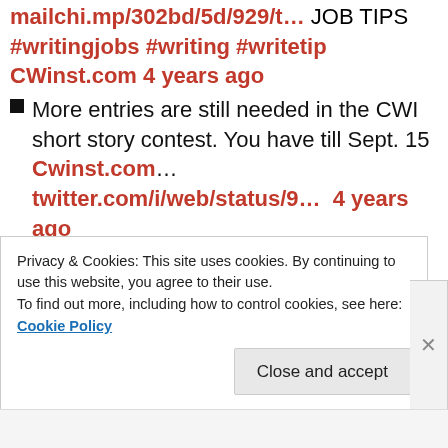mailchi.mp/302bd/5d/929/t... JOB TIPS #writingjobs #writing #writetip CWinst.com 4 years ago
More entries are still needed in the CWI short story contest. You have till Sept. 15 Cwinst.com... twitter.com/i/web/status/9... 4 years ago
More entries are still needed in the CWI short story contest. You have till Sept. 15 Cwinst.com... twitter.com/i/web/status/9... 4 years ago
Sept 15 will be here soon, so get your story entered in the CWI contest while you can. Cwinst.com... twitter.com/i/web/status/9... 4 years ago
Privacy & Cookies: This site uses cookies. By continuing to use this website, you agree to their use. To find out more, including how to control cookies, see here: Cookie Policy
Close and accept